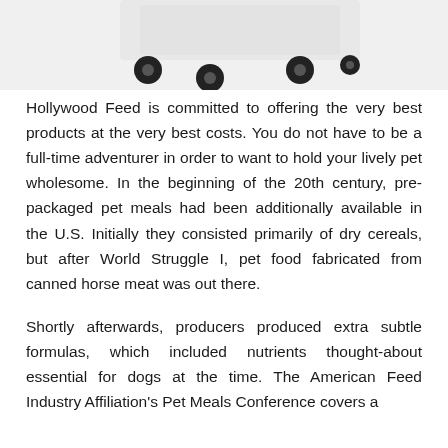[Figure (photo): Partial image of a pet product (appears to be a wheeled container or feeder) with black caster wheels on a white background, cropped at the top of the page.]
Hollywood Feed is committed to offering the very best products at the very best costs. You do not have to be a full-time adventurer in order to want to hold your lively pet wholesome. In the beginning of the 20th century, pre-packaged pet meals had been additionally available in the U.S. Initially they consisted primarily of dry cereals, but after World Struggle I, pet food fabricated from canned horse meat was out there.
Shortly afterwards, producers produced extra subtle formulas, which included nutrients thought-about essential for dogs at the time. The American Feed Industry Affiliation's Pet Meals Conference covers a